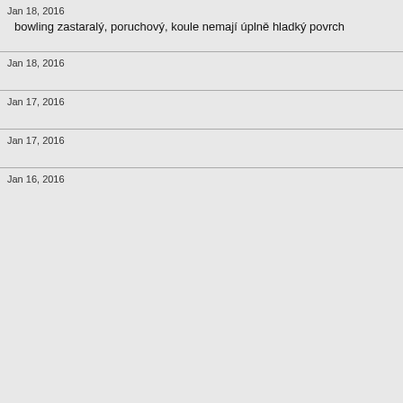Jan 18, 2016
bowling zastaralý, poruchový, koule nemají úplně hladký povrch
Jan 18, 2016
Jan 17, 2016
Jan 17, 2016
Jan 16, 2016